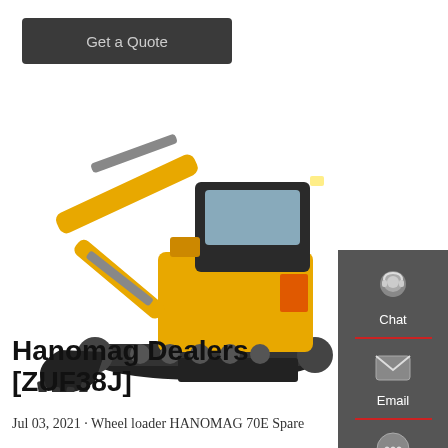Get a Quote
[Figure (photo): LiuGong yellow mini excavator with hydraulic arm and bucket, tracked, with blade, on white background]
[Figure (infographic): Sidebar with Chat, Email, and Contact icons on dark grey background with red dividers]
Hanomag Dealers [ZUF38J]
Jul 03, 2021 · Wheel loader HANOMAG 70E Spare